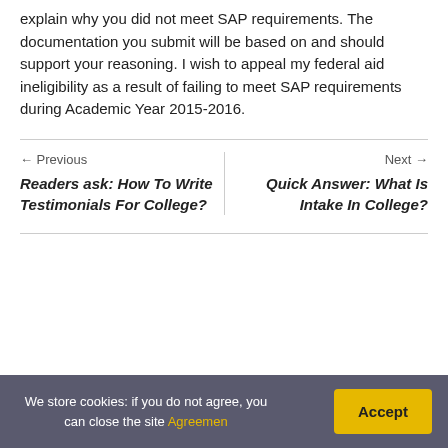explain why you did not meet SAP requirements. The documentation you submit will be based on and should support your reasoning. I wish to appeal my federal aid ineligibility as a result of failing to meet SAP requirements during Academic Year 2015-2016.
← Previous
Readers ask: How To Write Testimonials For College?
Next →
Quick Answer: What Is Intake In College?
We store cookies: if you do not agree, you can close the site Agreemen